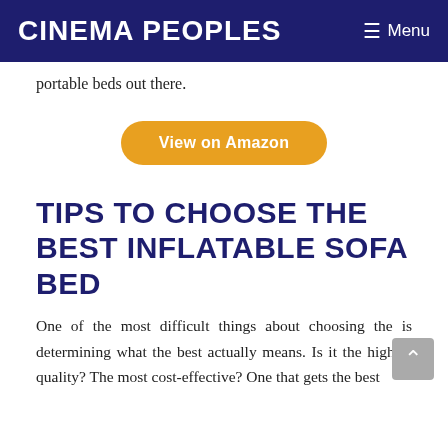Cinema Peoples   ≡ Menu
portable beds out there.
View on Amazon
TIPS TO CHOOSE THE BEST INFLATABLE SOFA BED
One of the most difficult things about choosing the is determining what the best actually means. Is it the highest quality? The most cost-effective? One that gets the best